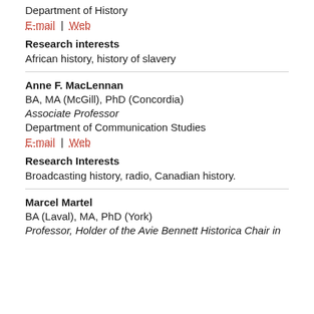Department of History
E-mail | Web
Research interests
African history, history of slavery
Anne F. MacLennan
BA, MA (McGill), PhD (Concordia)
Associate Professor
Department of Communication Studies
E-mail | Web
Research Interests
Broadcasting history, radio, Canadian history.
Marcel Martel
BA (Laval), MA, PhD (York)
Professor, Holder of the Avie Bennett Historica Chair in